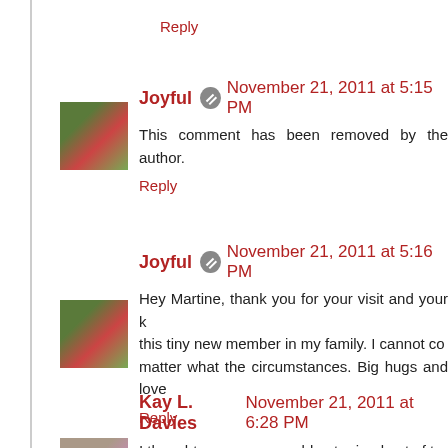Reply
Joyful  November 21, 2011 at 5:15 PM
This comment has been removed by the author.
Reply
Joyful  November 21, 2011 at 5:16 PM
Hey Martine, thank you for your visit and your k... this tiny new member in my family. I cannot co... matter what the circumstances. Big hugs and love
Reply
Kay L. Davies  November 21, 2011 at 6:28 PM
I thought your snow would get rained out of t... starting tomorrow, so our snow might melt. Ther... that it gets the dog's feet wet, so we have to have